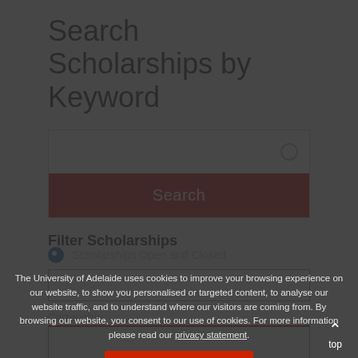Search Scholarships by Keyword
[Figure (screenshot): Search input box with a circular icon on the right side]
Search
Filter Scholarships
Scholarships Open and Closed
- Any -
Citizenship
The University of Adelaide uses cookies to improve your browsing experience on our website, to show you personalised or targeted content, to analyse our website traffic, and to understand where our visitors are coming from. By browsing our website, you consent to our use of cookies. For more information please read our privacy statement.
Accept and continue